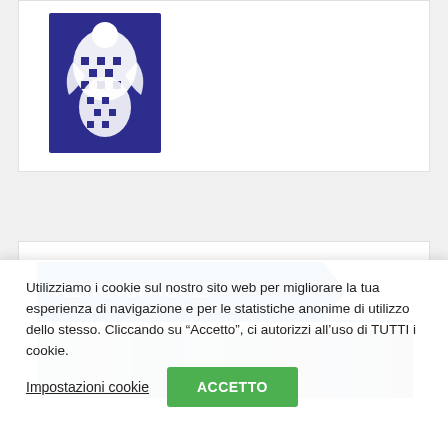[Figure (logo): Dark blue/purple square logo with a stylized figure holding a checkered pattern, facing left]
ALTRI ARTICOLI
[Figure (photo): Partial photo strip showing blurred black and white/grey tones, likely people in dark clothing]
Utilizziamo i cookie sul nostro sito web per migliorare la tua esperienza di navigazione e per le statistiche anonime di utilizzo dello stesso. Cliccando su “Accetto”, ci autorizzi all’uso di TUTTI i cookie.
Impostazioni cookie
ACCETTO